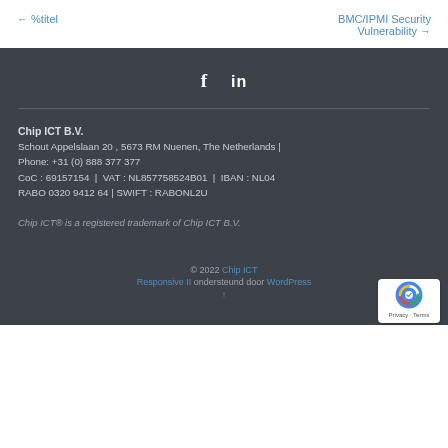← %titel    BMC/IPMI Security Vulnerability →
[Figure (other): Social media icons: Facebook (f) and LinkedIn (in)]
Chip ICT B.V.
Schout Appelslaan 20 , 5673 RM Nuenen, The Netherlands | Phone: +31 (0) 888 377 377
CoC : 69157154  |  VAT : NL857758524B01  |  IBAN : NL04 RABO 0320 9412 64 | SWIFT : RABONL2U
Chip ICT® is a registered trademark of Chip ICT B.V.
© 2022 Chip ICT
Responsive II ondersteund door WordPress